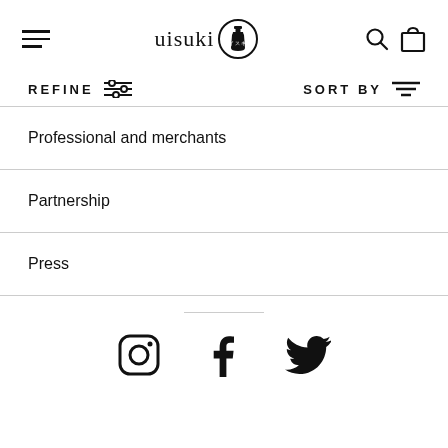uisuki [logo with bottle icon] — navigation header with hamburger menu, search and bag icons
REFINE   SORT BY
Professional and merchants
Partnership
Press
[Figure (infographic): Social media icons: Instagram, Facebook, Twitter]